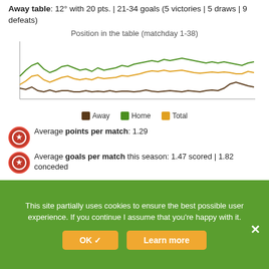Away table: 12° with 20 pts. | 21-34 goals (5 victories | 5 draws | 9 defeats)
[Figure (line-chart): Line chart showing position in table over matchdays 1-38 for Away, Home, and Total standings]
Average points per match: 1.29
Average goals per match this season: 1.47 scored | 1.82 conceded
[Figure (bar-chart): Bar chart showing points per match, partially visible at bottom of page]
This site partially uses cookies to ensure the best possible user experience. If you continue I assume that you're happy with it.